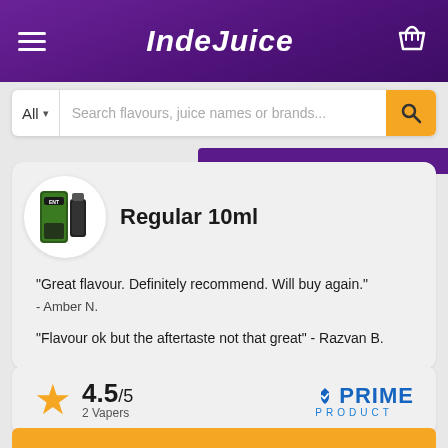IndeJuice
Search flavours, juice names or brands...
Regular 10ml
"Great flavour. Definitely recommend. Will buy again."
- Amber N.
"Flavour ok but the aftertaste not that great" - Razvan B.
4.5/5
2 Vapers
[Figure (logo): PRIME PRODUCT logo in blue]